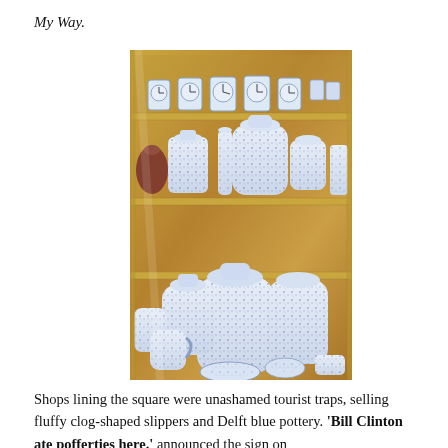My Way.
[Figure (photo): A shop display shelf filled with blue and white Delft pottery — vases, ginger jars, clocks, jugs, plates — arranged on multiple wooden shelves, photographed through glass.]
Shops lining the square were unashamed tourist traps, selling fluffy clog-shaped slippers and Delft blue pottery. 'Bill Clinton ate pofferties here.' announced the sign on